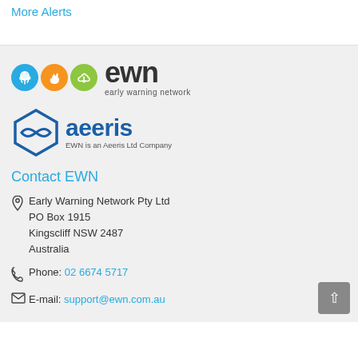More Alerts
[Figure (logo): EWN (Early Warning Network) logo with three colored circles (blue rain/cloud, orange fire, green cloud) followed by 'ewn' wordmark and 'early warning network' tagline]
[Figure (logo): Aeeris logo with hexagonal wave symbol in blue followed by 'aeeris' wordmark and 'EWN is an Aeeris Ltd Company' subtitle]
Contact EWN
Early Warning Network Pty Ltd
PO Box 1915
Kingscliff NSW 2487
Australia
Phone: 02 6674 5717
E-mail: support@ewn.com.au